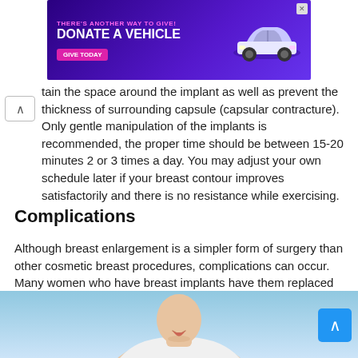[Figure (other): Advertisement banner: 'THERE'S ANOTHER WAY TO GIVE! DONATE A VEHICLE - GIVE TODAY' with a car image on a purple background]
tain the space around the implant as well as prevent the thickness of surrounding capsule (capsular contracture). Only gentle manipulation of the implants is recommended, the proper time should be between 15-20 minutes 2 or 3 times a day. You may adjust your own schedule later if your breast contour improves satisfactorily and there is no resistance while exercising.
Complications
Although breast enlargement is a simpler form of surgery than other cosmetic breast procedures, complications can occur. Many women who have breast implants have them replaced in another procedure at some time in their life, usually because of capsular contraction.
[Figure (photo): Photo of a woman in a white top, close-up showing her face and upper body against a light blue background]